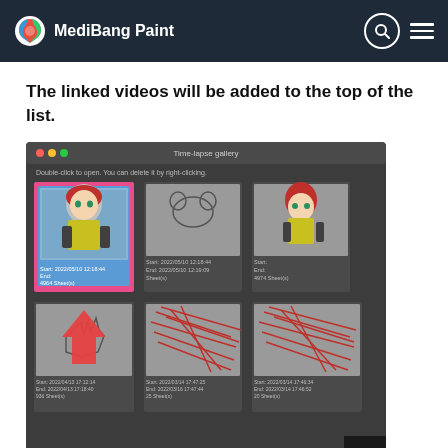MediBang Paint
The linked videos will be added to the top of the list.
[Figure (screenshot): Screenshot of MediBang Paint Time-lapse gallery window showing multiple artwork thumbnails. The top-left thumbnail (an anime character with red hair, selected/highlighted in blue) has a pink/red border and a red upward arrow below it, indicating it is now at the top of the list. Other thumbnails show sketches and drawings with date/sheet metadata below them.]